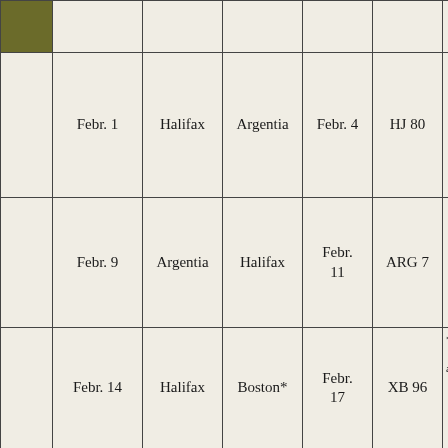|  |  | From | To |  |  |  |
| --- | --- | --- | --- | --- | --- | --- |
|  | Febr. 1 | Halifax | Argentia | Febr. 4 | HJ 80 |  |
|  | Febr. 9 | Argentia | Halifax | Febr. 11 | ARG 7 |  |
|  | Febr. 14 | Halifax | Boston* | Febr. 17 | XB 96 | *
av |